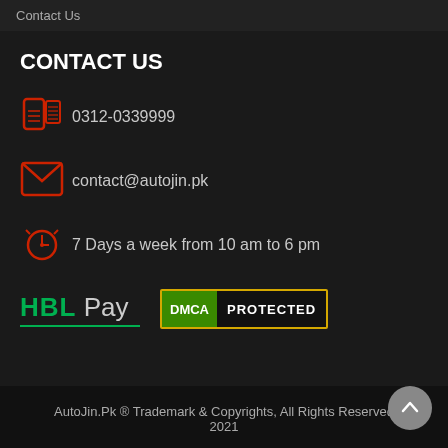Contact Us
CONTACT US
0312-0339999
contact@autojin.pk
7 Days a week from 10 am to 6 pm
[Figure (logo): HBL Pay logo with green text and underline, and DMCA Protected badge with gold border]
AutoJin.Pk ® Trademark & Copyrights, All Rights Reserved 2021